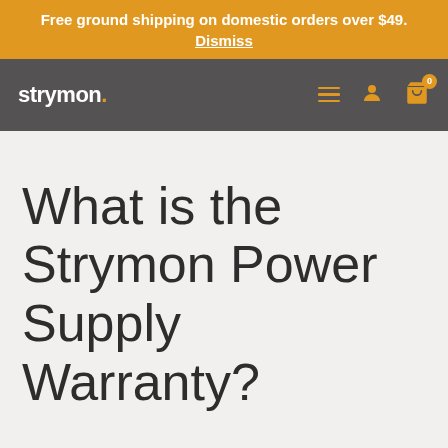Free ground shipping on domestic orders over $49. Dismiss
[Figure (screenshot): Strymon website navigation bar with logo, hamburger menu, user icon, and cart icon showing 0 items]
What is the Strymon Power Supply Warranty?